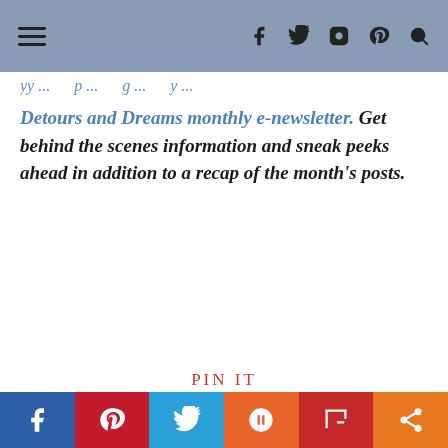Navigation bar with hamburger menu and social icons (f, twitter, instagram, pinterest, search)
yy ... p ... g ... y ...
Detours and Dreams monthly e-newsletter. Get behind the scenes information and sneak peeks ahead in addition to a recap of the month's posts.
PIN IT
[Figure (photo): Historic sailing ship (galleon) against modern building facade, dark hull with ornate decorations]
[Figure (photo): Blue sky with clouds and an ornate street lamp/lantern post silhouetted against the sky]
Social sharing bar: Facebook, Pinterest, Twitter, Mix, Flipboard, Share